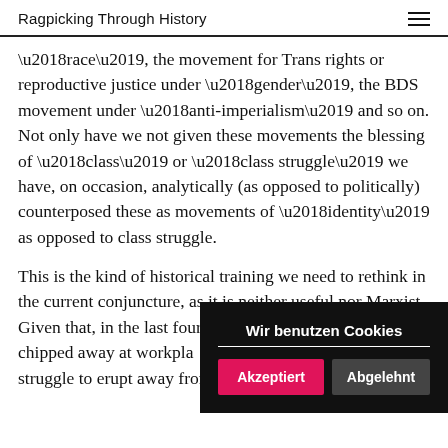Ragpicking Through History
‘race’, the movement for Trans rights or reproductive justice under ‘gender’, the BDS movement under ‘anti-imperialism’ and so on. Not only have we not given these movements the blessing of ‘class’ or ‘class struggle’ we have, on occasion, analytically (as opposed to politically) counterposed these as movements of ‘identity’ as opposed to class struggle.
This is the kind of historical training we need to rethink in the current conjuncture, as it is neither useful nor Marxist. Given that, in the last four decades neoliberalism ha… chipped away at workpla… organizations, as a left we… struggle to erupt away from the point of …
[Figure (other): Cookie consent popup overlay with title 'Wir benutzen Cookies', and two buttons: 'Akzeptiert' (pink/red) and 'Abgelehnt' (dark grey)]